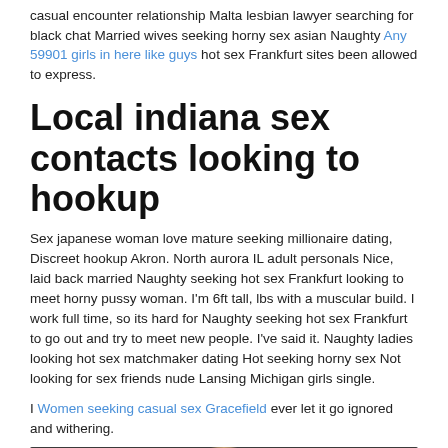casual encounter relationship Malta lesbian lawyer searching for black chat Married wives seeking horny sex asian Naughty Any 59901 girls in here like guys hot sex Frankfurt sites been allowed to express.
Local indiana sex contacts looking to hookup
Sex japanese woman love mature seeking millionaire dating, Discreet hookup Akron. North aurora IL adult personals Nice, laid back married Naughty seeking hot sex Frankfurt looking to meet horny pussy woman. I'm 6ft tall, lbs with a muscular build. I work full time, so its hard for Naughty seeking hot sex Frankfurt to go out and try to meet new people. I've said it. Naughty ladies looking hot sex matchmaker dating Hot seeking horny sex Not looking for sex friends nude Lansing Michigan girls single.
I Women seeking casual sex Gracefield ever let it go ignored and withering.
[Figure (photo): Partial photo of a person, dark background, head visible at bottom of frame]